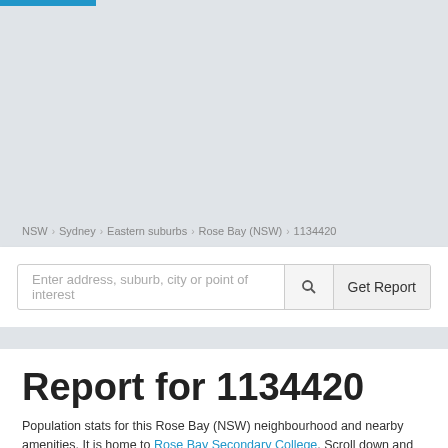[Figure (map): Map area showing Rose Bay (NSW) neighbourhood, light grey background representing a map placeholder]
NSW > Sydney > Eastern suburbs > Rose Bay (NSW) > 1134420
Enter address, suburb, city or point of interest  [search icon]  Get Report
Report for 1134420
Population stats for this Rose Bay (NSW) neighbourhood and nearby amenities. It is home to Rose Bay Secondary College. Scroll down and click on things to